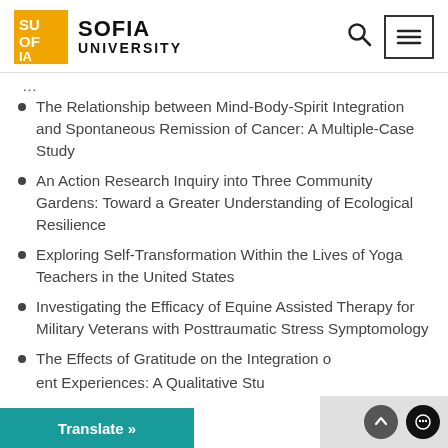Sofia University
The Relationship between Mind-Body-Spirit Integration and Spontaneous Remission of Cancer: A Multiple-Case Study
An Action Research Inquiry into Three Community Gardens: Toward a Greater Understanding of Ecological Resilience
Exploring Self-Transformation Within the Lives of Yoga Teachers in the United States
Investigating the Efficacy of Equine Assisted Therapy for Military Veterans with Posttraumatic Stress Symptomology
The Effects of Gratitude on the Integration of... ent Experiences: A Qualitative Stu...
...ualization: An Abductive Study of Self-